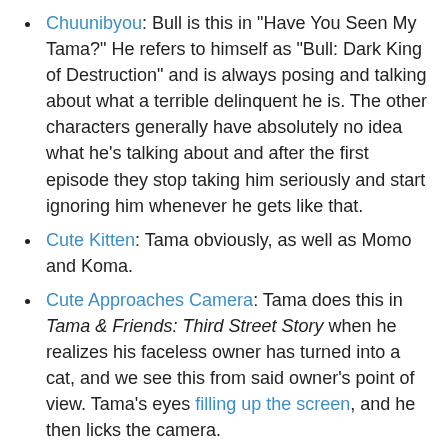Chuunibyou: Bull is this in "Have You Seen My Tama?" He refers to himself as "Bull: Dark King of Destruction" and is always posing and talking about what a terrible delinquent he is. The other characters generally have absolutely no idea what he's talking about and after the first episode they stop taking him seriously and start ignoring him whenever he gets like that.
Cute Kitten: Tama obviously, as well as Momo and Koma.
Cute Approaches Camera: Tama does this in Tama & Friends: Third Street Story when he realizes his faceless owner has turned into a cat, and we see this from said owner's point of view. Tama's eyes filling up the screen, and he then licks the camera.
A more literal example happens in episode 6. Momo's owner Emi is using a new video camera purchased by her parents. When she and Takeshi use it to film the antics of all the animals at the Third Street park, Tama and Momo approach the camera lens. At first Emi